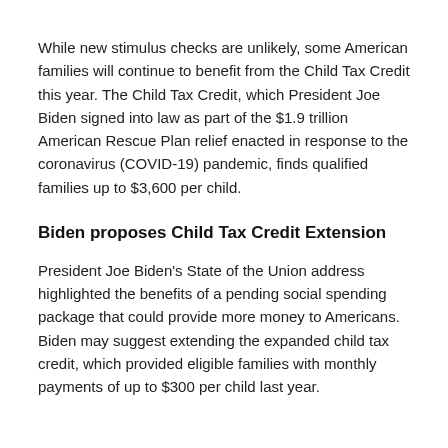While new stimulus checks are unlikely, some American families will continue to benefit from the Child Tax Credit this year. The Child Tax Credit, which President Joe Biden signed into law as part of the $1.9 trillion American Rescue Plan relief enacted in response to the coronavirus (COVID-19) pandemic, finds qualified families up to $3,600 per child.
Biden proposes Child Tax Credit Extension
President Joe Biden's State of the Union address highlighted the benefits of a pending social spending package that could provide more money to Americans. Biden may suggest extending the expanded child tax credit, which provided eligible families with monthly payments of up to $300 per child last year.